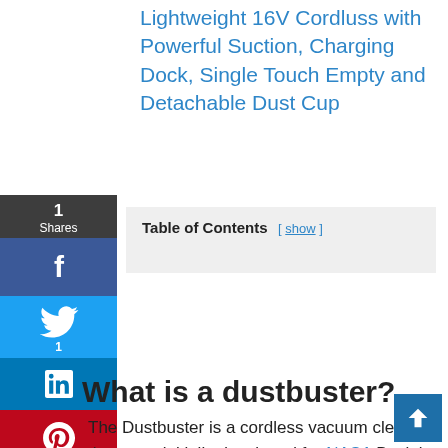Lightweight 16V Cordless with Powerful Suction, Charging Dock, Single Touch Empty and Detachable Dust Cup
What is a dustbuster?
The Dustbuster is a cordless vacuum cleaner that were initially developed for NASA Back in the 1970's. Black & Decker developed the product and it was initially known as the Black &